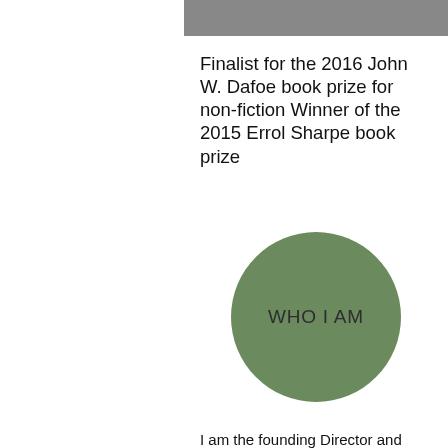[Figure (other): Gray horizontal bar at top right of page]
Finalist for the 2016 John W. Dafoe book prize for non-fiction Winner of the 2015 Errol Sharpe book prize
[Figure (other): Green circle with text 'WHO I AM' in the center]
I am the founding Director and former head of Parkland Institute at the University of Alberta in Edmonton. Parkland is a non-corporate research institute that does public policy research to serve the public interest. When the Progressive Conservatives ruled Alberta under Ralph Klein, the Globe and Mail called Parkland Alberta's 'unofficial